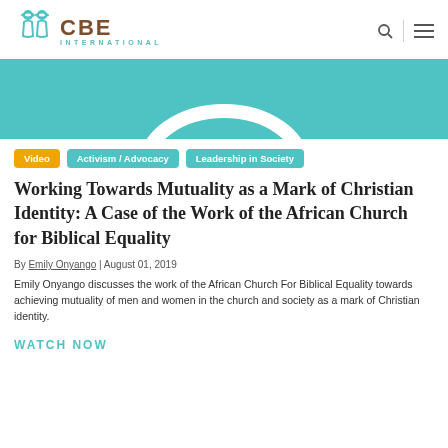CBE International
[Figure (illustration): Teal/turquoise hero banner image with a white circular ring graphic partially visible at top center.]
Video
Activism / Advocacy
Leadership in Society
Working Towards Mutuality as a Mark of Christian Identity: A Case of the Work of the African Church for Biblical Equality
By Emily Onyango | August 01, 2019
Emily Onyango discusses the work of the African Church For Biblical Equality towards achieving mutuality of men and women in the church and society as a mark of Christian identity.
WATCH NOW